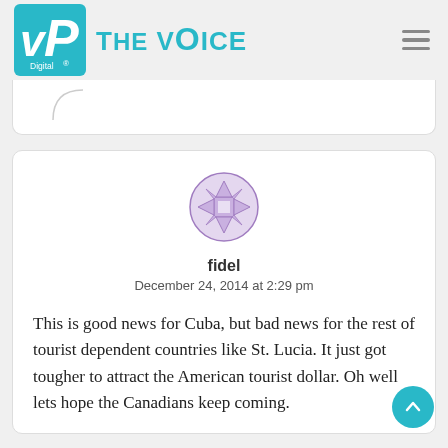[Figure (logo): VP Digital logo (teal square with VP initials) and THE VOICE text in teal, with hamburger menu icon on the right]
fidel
December 24, 2014 at 2:29 pm

This is good news for Cuba, but bad news for the rest of tourist dependent countries like St. Lucia. It just got tougher to attract the American tourist dollar. Oh well lets hope the Canadians keep coming.